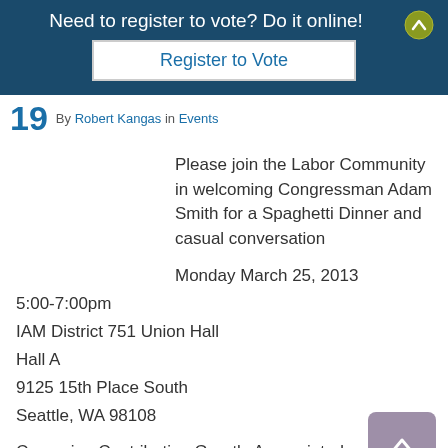Need to register to vote? Do it online!
Register to Vote
19 By Robert Kangas in Events
Please join the Labor Community in welcoming Congressman Adam Smith for a Spaghetti Dinner and casual conversation
Monday March 25, 2013
5:00-7:00pm
IAM District 751 Union Hall
Hall A
9125 15th Place South
Seattle, WA 98108
Campaign Contribution Greatly Appreciated